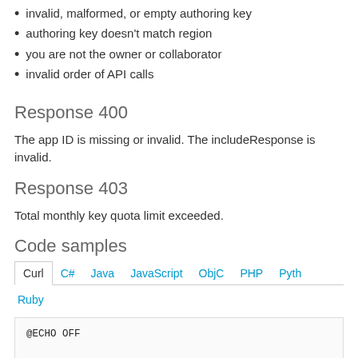invalid, malformed, or empty authoring key
authoring key doesn't match region
you are not the owner or collaborator
invalid order of API calls
Response 400
The app ID is missing or invalid. The includeResponse is invalid.
Response 403
Total monthly key quota limit exceeded.
Code samples
Curl  C#  Java  JavaScript  ObjC  PHP  Pyth  Ruby
@ECHO OFF

curl -v -X GET "https://chinaeast2.api.cognitive.azure